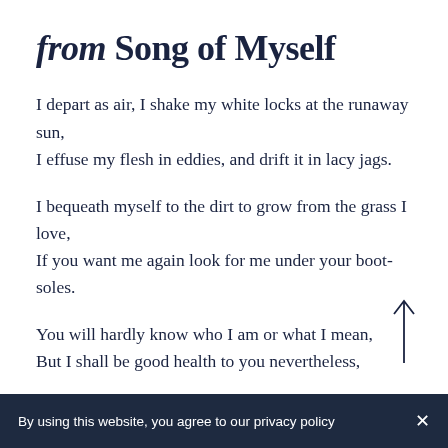from Song of Myself
I depart as air, I shake my white locks at the runaway sun,
I effuse my flesh in eddies, and drift it in lacy jags.
I bequeath myself to the dirt to grow from the grass I love,
If you want me again look for me under your boot-soles.
You will hardly know who I am or what I mean,
But I shall be good health to you nevertheless,
Missing me one place? Search another,
By using this website, you agree to our privacy policy